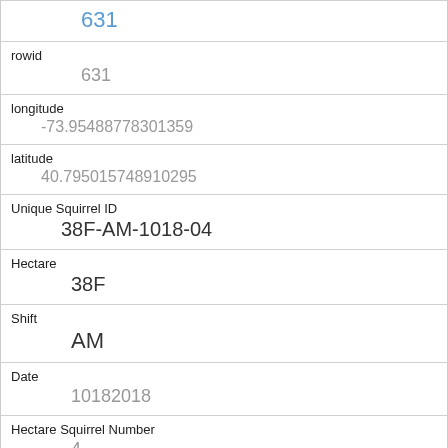631
rowid
631
longitude
-73.95488778301359
latitude
40.795015748910295
Unique Squirrel ID
38F-AM-1018-04
Hectare
38F
Shift
AM
Date
10182018
Hectare Squirrel Number
4
Age
Adult
Primary Fur Color